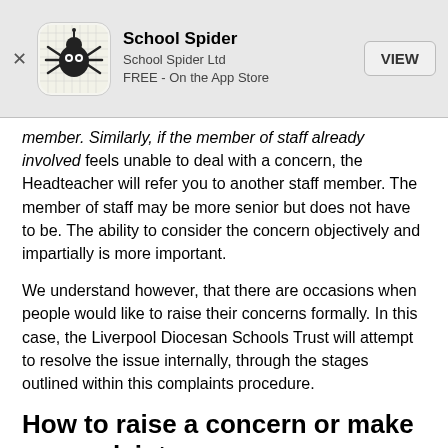[Figure (screenshot): School Spider app banner with icon, title 'School Spider', subtitle 'School Spider Ltd', 'FREE - On the App Store', and a VIEW button]
member. Similarly, if the member of staff already involved feels unable to deal with a concern, the Headteacher will refer you to another staff member. The member of staff may be more senior but does not have to be. The ability to consider the concern objectively and impartially is more important.
We understand however, that there are occasions when people would like to raise their concerns formally. In this case, the Liverpool Diocesan Schools Trust will attempt to resolve the issue internally, through the stages outlined within this complaints procedure.
How to raise a concern or make a complaint
A concern or complaint can be made in person, in writing or by telephone. They may also be made by a third party acting on behalf of a complainant, as long as they have appropriate consent to do so.